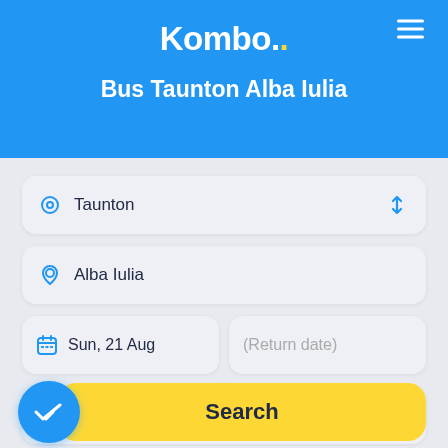Kombo.
Bus Taunton Alba Iulia
Taunton
Alba Iulia
Sun, 21 Aug
(Return date)
1 passenger
Search